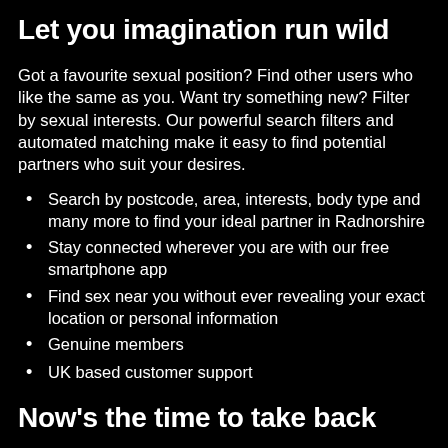Let you imagination run wild
Got a favourite sexual position? Find other users who like the same as you. Want try something new? Filter by sexual interests. Our powerful search filters and automated matching make it easy to find potential partners who suit your desires.
Search by postcode, area, interests, body type and many more to find your ideal partner in Radnorshire
Stay connected wherever you are with our free smartphone app
Find sex near you without ever revealing your exact location or personal information
Genuine members
UK based customer support
Now's the time to take back